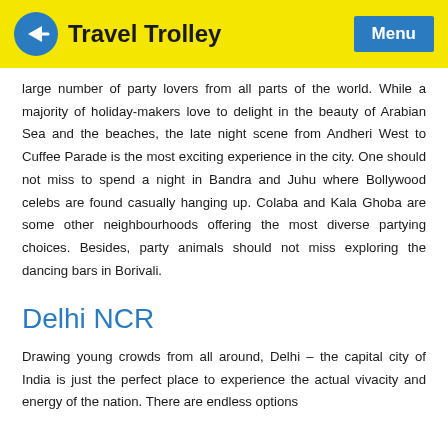Travel Trolley  Menu
large number of party lovers from all parts of the world. While a majority of holiday-makers love to delight in the beauty of Arabian Sea and the beaches, the late night scene from Andheri West to Cuffee Parade is the most exciting experience in the city. One should not miss to spend a night in Bandra and Juhu where Bollywood celebs are found casually hanging up. Colaba and Kala Ghoba are some other neighbourhoods offering the most diverse partying choices. Besides, party animals should not miss exploring the dancing bars in Borivali.
Delhi NCR
Drawing young crowds from all around, Delhi – the capital city of India is just the perfect place to experience the actual vivacity and energy of the nation. There are endless options